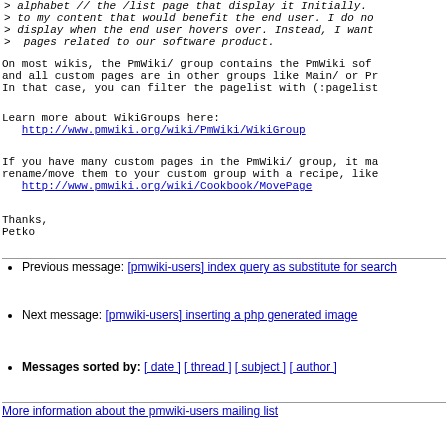> alphabet // the /list page that display it Initially.
> to my content that would benefit the end user. I do not
> display when the end user hovers over. Instead, I want
>  pages related to our software product.
On most wikis, the PmWiki/ group contains the PmWiki soft
and all custom pages are in other groups like Main/ or Pr
In that case, you can filter the pagelist with (:pagelist
Learn more about WikiGroups here:
   http://www.pmwiki.org/wiki/PmWiki/WikiGroup
If you have many custom pages in the PmWiki/ group, it ma
rename/move them to your custom group with a recipe, like
   http://www.pmwiki.org/wiki/Cookbook/MovePage
Thanks,
Petko
Previous message: [pmwiki-users] index query as substitute for search
Next message: [pmwiki-users] inserting a php generated image
Messages sorted by: [ date ] [ thread ] [ subject ] [ author ]
More information about the pmwiki-users mailing list